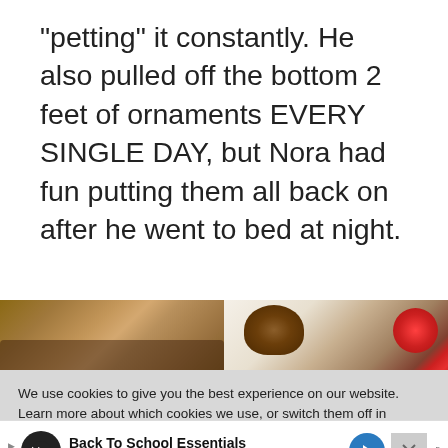“petting” it constantly. He also pulled off the bottom 2 feet of ornaments EVERY SINGLE DAY, but Nora had fun putting them all back on after he went to bed at night.
[Figure (photo): Two food photos side by side: left shows a dark chocolate dessert with a spoon, right shows a bread roll and strawberries on a white plate]
We use cookies to give you the best experience on our website.
Learn more about which cookies we use, or switch them off in settings.
Accept
Back To School Essentials
Leesburg Premium Outlets